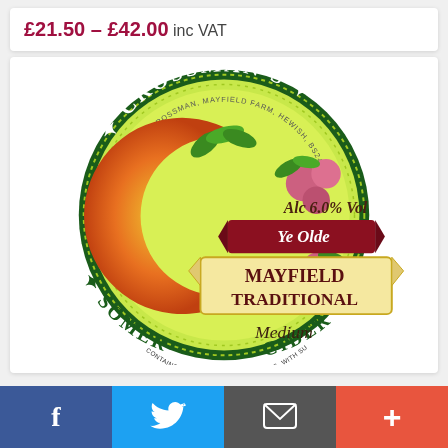£21.50 – £42.00 inc VAT
[Figure (illustration): Crossman's Ye Olde Mayfield Traditional Somerset Cider label — circular green label with dark green border, large orange/gold C letter graphic, pink apples and green leaves, red banner reading 'Ye Olde', cream banner reading 'MAYFIELD TRADITIONAL', text 'Alc 6.0% Vol', 'Medium', 'CROSSMAN'S', 'SOMERSET CIDER', made by Ben Crossman, Mayfield Farm, Hewish, BS24 6RQ]
f
🐦
✉
+